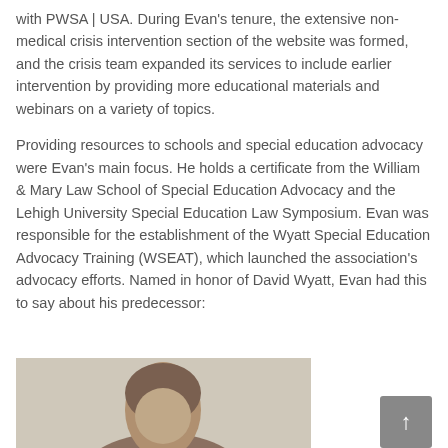with PWSA | USA.  During Evan's tenure, the extensive non-medical crisis intervention section of the website was formed, and the crisis team expanded its services to include earlier intervention by providing more educational materials and webinars on a variety of topics.
Providing resources to schools and special education advocacy were Evan's main focus.  He holds a certificate from the William & Mary Law School of Special Education Advocacy and the Lehigh University Special Education Law Symposium.  Evan was responsible for the establishment of the Wyatt Special Education Advocacy Training (WSEAT), which launched the association's advocacy efforts.  Named in honor of David Wyatt, Evan had this to say about his predecessor:
[Figure (photo): Partial photo of a person, cropped at bottom of page, showing head and upper shoulders against a neutral background.]